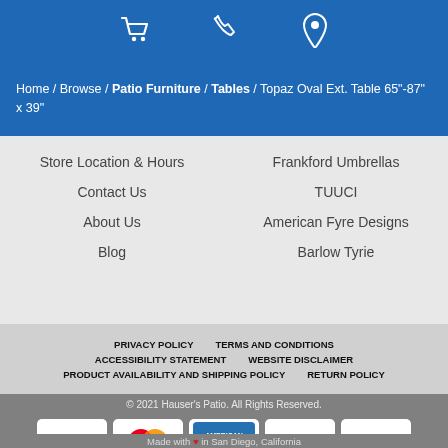[Figure (screenshot): Blue header bar with cart icon, phone icon, and map pin icon]
Home / Browse / Patio Furniture / Tables / Topaz Oval Ext. Table 65"-87" x 39"
Store Location & Hours
Contact Us
About Us
Blog
Frankford Umbrellas
TUUCI
American Fyre Designs
Barlow Tyrie
PRIVACY POLICY   TERMS AND CONDITIONS   ACCESSIBILITY STATEMENT   WEBSITE DISCLAIMER   PRODUCT AVAILABILITY AND SHIPPING POLICY   RETURN POLICY
© 2021 Hauser's Patio. All Rights Reserved.
[Figure (logo): Payment method logos: Visa, MasterCard, American Express, Discover, PayPal]
Made with ❤ in San Diego, California